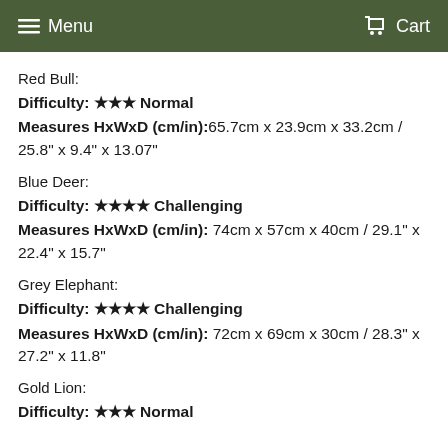Menu   Cart
Red Bull:
Difficulty: ★★★ Normal
Measures HxWxD (cm/in):65.7cm x 23.9cm x 33.2cm / 25.8" x 9.4" x 13.07"
Blue Deer:
Difficulty: ★★★★ Challenging
Measures HxWxD (cm/in): 74cm x 57cm x 40cm / 29.1" x 22.4" x 15.7"
Grey Elephant:
Difficulty: ★★★★ Challenging
Measures HxWxD (cm/in): 72cm x 69cm x 30cm / 28.3" x 27.2" x 11.8"
Gold Lion:
Difficulty: ★★★ Normal